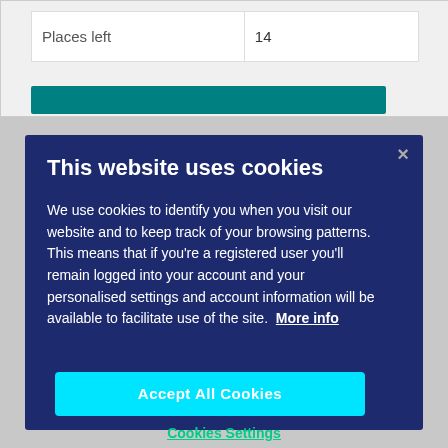| Places left | 14 |
| --- | --- |
This website uses cookies
We use cookies to identify you when you visit our website and to keep track of your browsing patterns. This means that if you're a registered user you'll remain logged into your account and your personalised settings and account information will be available to facilitate use of the site. More info
Accept All Cookies
Cookies Settings